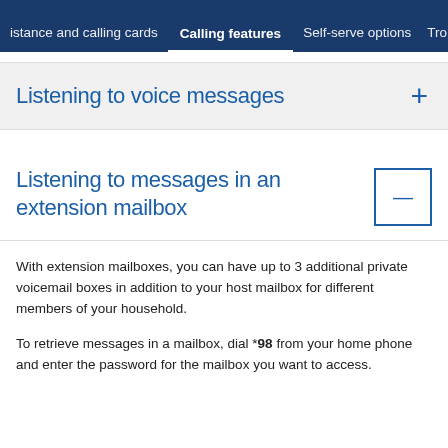distance and calling cards   Calling features   Self-serve options   Tro
Listening to voice messages
Listening to messages in an extension mailbox
With extension mailboxes, you can have up to 3 additional private voicemail boxes in addition to your host mailbox for different members of your household.
To retrieve messages in a mailbox, dial *98 from your home phone and enter the password for the mailbox you want to access.